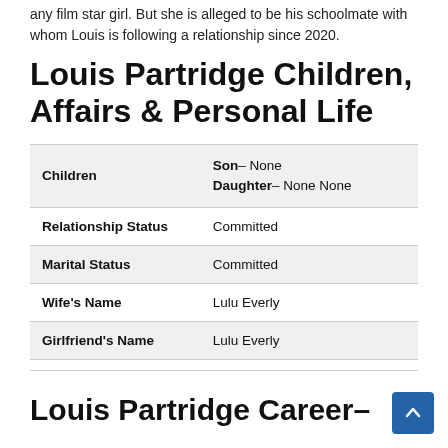any film star girl. But she is alleged to be his schoolmate with whom Louis is following a relationship since 2020.
Louis Partridge Children, Affairs & Personal Life
|  |  |
| --- | --- |
| Children | Son– None
Daughter– None None |
| Relationship Status | Committed |
| Marital Status | Committed |
| Wife's Name | Lulu Everly |
| Girlfriend's Name | Lulu Everly |
Louis Partridge Career–